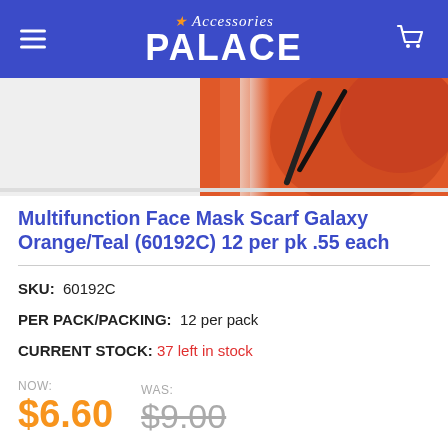Accessories Palace
[Figure (photo): Product image showing multifunction face mask scarf with galaxy orange and teal colors]
Multifunction Face Mask Scarf Galaxy Orange/Teal (60192C) 12 per pk .55 each
SKU: 60192C
PER PACK/PACKING: 12 per pack
CURRENT STOCK: 37 left in stock
NOW: $6.60  WAS: $9.00